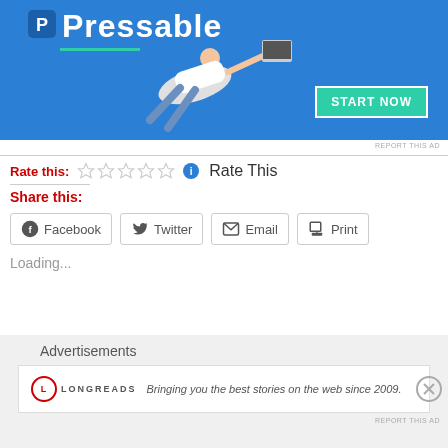[Figure (screenshot): Blue Pressable advertisement banner with a person diving/flying holding a laptop, with START NOW button]
REPORT THIS AD
Rate this: ☆☆☆☆☆ ℹ Rate This
Share this:
Facebook  Twitter  Email  Print
Loading...
Advertisements
[Figure (screenshot): Longreads advertisement: logo and tagline 'Bringing you the best stories on the web since 2009.']
REPORT THIS AD